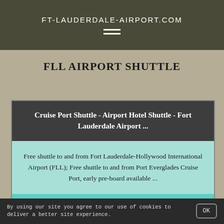FT-LAUDERDALE-AIRPORT.COM
FLL AIRPORT SHUTTLE
Cruise Port Shuttle - Airport Hotel Shuttle - Fort Lauderdale Airport ...
Free shuttle to and from Fort Lauderdale-Hollywood International Airport (FLL); Free shuttle to and from Port Everglades Cruise Port, early pre-board available ...
By using our site you agree to our use of cookies to deliver a better site experience.